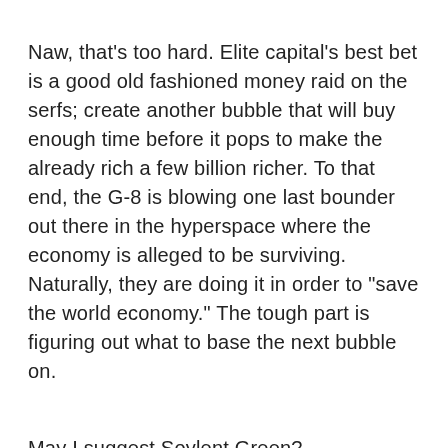Naw, that's too hard. Elite capital's best bet is a good old fashioned money raid on the serfs; create another bubble that will buy enough time before it pops to make the already rich a few billion richer. To that end, the G-8 is blowing one last bounder out there in the hyperspace where the economy is alleged to be surviving. Naturally, they are doing it in order to "save the world economy." The tough part is figuring out what to base the next bubble on.
May I suggest Soylent Green?